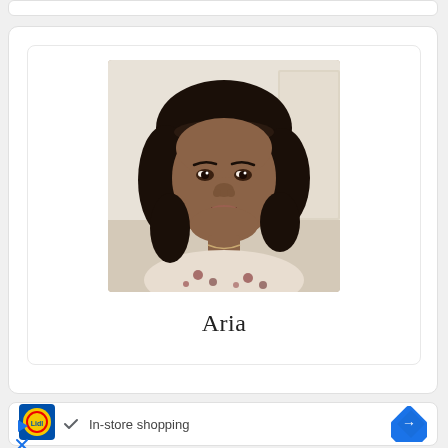[Figure (photo): Profile photo of a woman named Aria with curly dark hair wearing a patterned blouse, shown against a light interior background]
Aria
[Figure (logo): Lidl logo - yellow circle with blue and red text on blue square background]
✓  In-store shopping